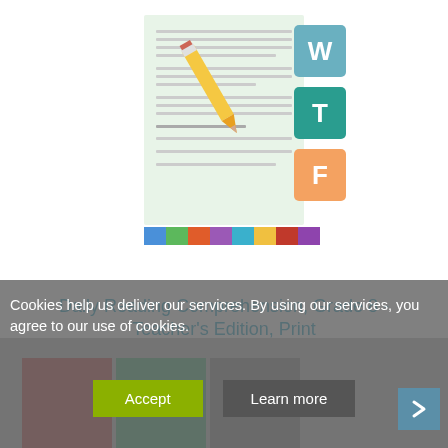[Figure (photo): Product image of Daily Reading Comprehension Grade 8 Teacher's Edition book cover with pencil graphic and colorful banner]
Daily Reading Comprehension, Grade 8 - Teacher's Edition, Print
3618
[Figure (other): Star rating: 1 out of 5 stars (1 filled star, 4 empty stars)]
$29.99 (USD)
Cookies help us deliver our services. By using our services, you agree to our use of cookies.
Accept
Learn more